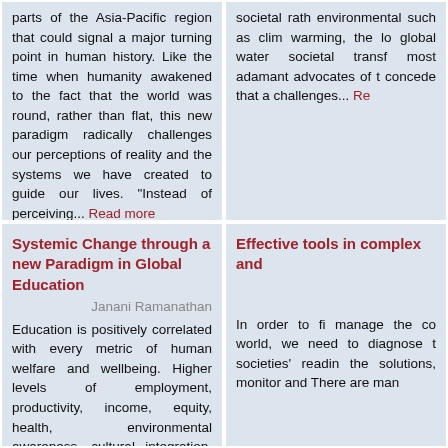parts of the Asia-Pacific region that could signal a major turning point in human history. Like the time when humanity awakened to the fact that the world was round, rather than flat, this new paradigm radically challenges our perceptions of reality and the systems we have created to guide our lives. "Instead of perceiving... Read more
societal rather than environmental such as climate warming, the loss global water societal transformation most adamant advocates of the concede that a challenges... Read more
Systemic Change through a new Paradigm in Global Education
Janani Ramanathan
Education is positively correlated with every metric of human welfare and wellbeing. Higher levels of employment, productivity, income, equity, health, environmental awareness, cultural integration, civic consciousness, and societal participation go with higher levels of
Effective tools in complex and
In order to find manage the complex world, we need to diagnose the societies' readiness the solutions, monitor and There are many